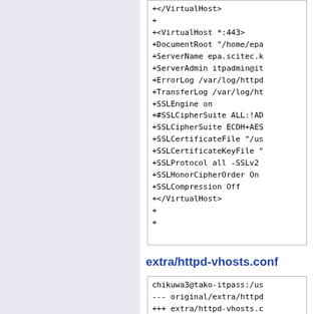[Figure (screenshot): Code diff block showing VirtualHost SSL configuration lines starting with + signs, including +</VirtualHost>, +<VirtualHost *:443>, +DocumentRoot, +ServerName epa.scitec.k, +ServerAdmin itpadmin@it, +ErrorLog /var/log/httpd, +TransferLog /var/log/ht, +SSLEngine on, +#SSLCipherSuite ALL:!AD, +SSLCipherSuite ECDH+AES, +SSLCertificateFile /us, +SSLCertificateKeyFile, +SSLProtocol all -SSLv2, +SSLHonorCipherOrder On, +SSLCompression Off, +</VirtualHost>, +, +]
extra/httpd-vhosts.conf
[Figure (screenshot): Code diff block showing: chikuwa3@tako-itpass:/us, --- original/extra/httpd, +++ extra/httpd-vhosts.c, @@ -21,21 +21,72 @@, # match a ServerName or]